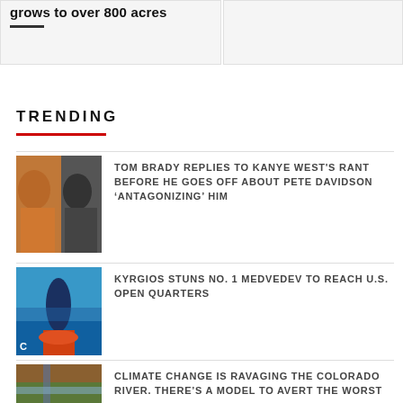grows to over 800 acres
TRENDING
TOM BRADY REPLIES TO KANYE WEST'S RANT BEFORE HE GOES OFF ABOUT PETE DAVIDSON 'ANTAGONIZING' HIM
KYRGIOS STUNS NO. 1 MEDVEDEV TO REACH U.S. OPEN QUARTERS
CLIMATE CHANGE IS RAVAGING THE COLORADO RIVER. THERE'S A MODEL TO AVERT THE WORST